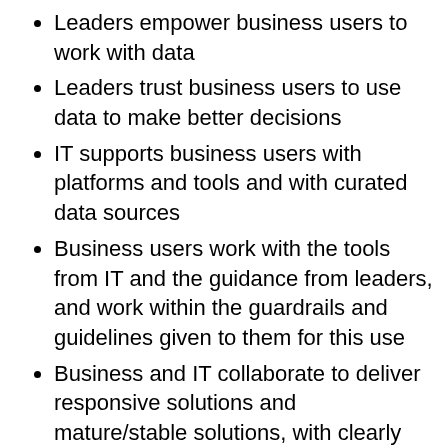Leaders empower business users to work with data
Leaders trust business users to use data to make better decisions
IT supports business users with platforms and tools and with curated data sources
Business users work with the tools from IT and the guidance from leaders, and work within the guardrails and guidelines given to them for this use
Business and IT collaborate to deliver responsive solutions and mature/stable solutions, with clearly defined responsibilities between them
Companies that are successful with managed self-service BI do these things. Companies that are